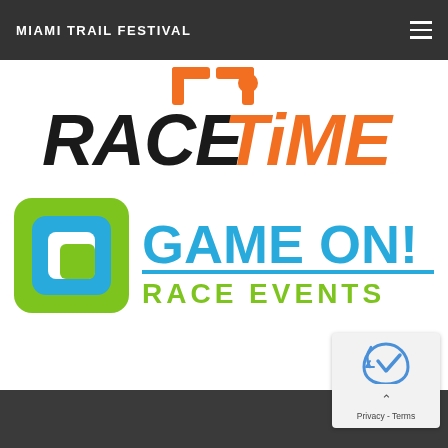MIAMI TRAIL FESTIVAL
[Figure (logo): RaceTime logo with black bold italic RACE text and orange bold italic TIME text, with partial bracket decorations above]
[Figure (logo): Game On! Race Events logo with green and blue concentric square bracket icon on left and blue bold GAME ON! text with green RACE EVENTS text below]
Privacy - Terms